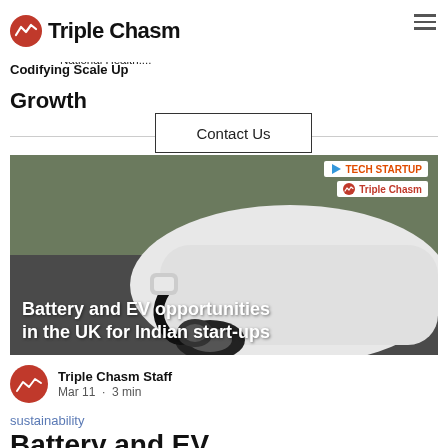The UK has a well-developed MedTech ecosystem comprising of businesses, large and small, and a range of specialists and National Health....
Triple Chasm · Codifying Scale Up · Growth
Growth
Contact Us
[Figure (photo): Photo of an EV car charging, with overlaid text 'Battery and EV opportunities in the UK for Indian start-ups', TECH STARTUP and Triple Chasm logos in top right]
Triple Chasm Staff
Mar 11 · 3 min
sustainability
Battery and EV